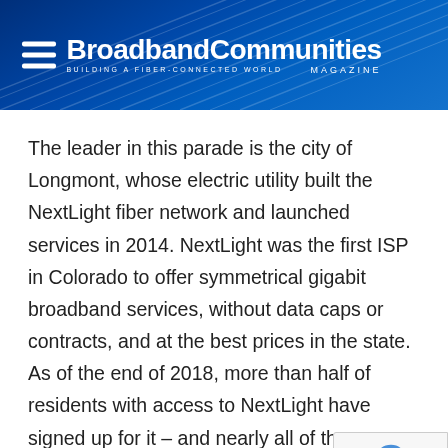BroadbandCommunities — BUILDING A FIBER-CONNECTED WORLD — MAGAZINE
The leader in this parade is the city of Longmont, whose electric utility built the NextLight fiber network and launched services in 2014. NextLight was the first ISP in Colorado to offer symmetrical gigabit broadband services, without data caps or contracts, and at the best prices in the state. As of the end of 2018, more than half of residents with access to NextLight have signed up for it – and nearly all of them chose the gigabit tier.
[Figure (logo): reCAPTCHA privacy badge with rotating arrow icon and Privacy - Terms text]